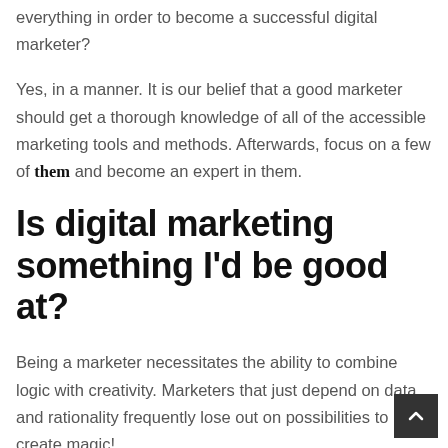everything in order to become a successful digital marketer?
Yes, in a manner. It is our belief that a good marketer should get a thorough knowledge of all of the accessible marketing tools and methods. Afterwards, focus on a few of them and become an expert in them.
Is digital marketing something I'd be good at?
Being a marketer necessitates the ability to combine logic with creativity. Marketers that just depend on data and rationality frequently lose out on possibilities to create magic!